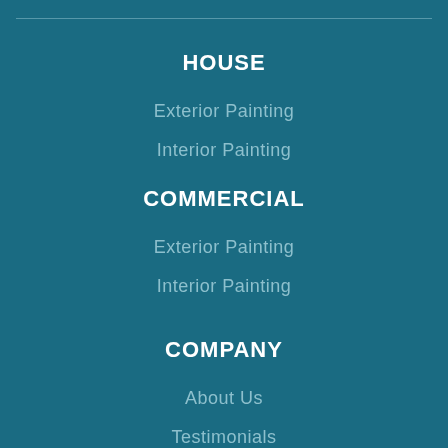HOUSE
Exterior Painting
Interior Painting
COMMERCIAL
Exterior Painting
Interior Painting
COMPANY
About Us
Testimonials